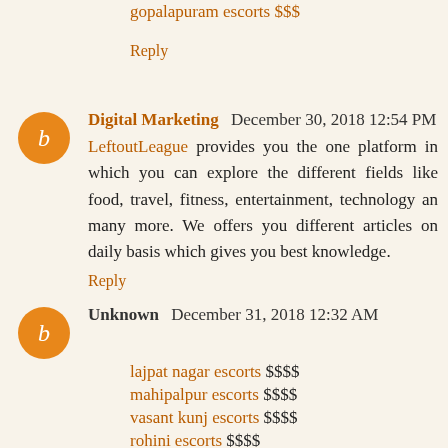gopalapuram escorts $$$
Reply
Digital Marketing  December 30, 2018 12:54 PM
LeftoutLeague provides you the one platform in which you can explore the different fields like food, travel, fitness, entertainment, technology an many more. We offers you different articles on daily basis which gives you best knowledge.
Reply
Unknown  December 31, 2018 12:32 AM
lajpat nagar escorts $$$$
mahipalpur escorts $$$$
vasant kunj escorts $$$$
rohini escorts $$$$
saket escorts $$$$
Reply